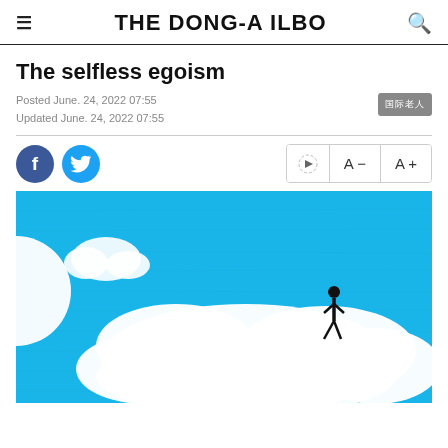THE DONG-A ILBO
The selfless egoism
Posted June. 24, 2022 07:55
Updated June. 24, 2022 07:55
[Figure (illustration): Illustration of a blue sky with white clouds and a small black figure of a person standing on top of a large cloud]